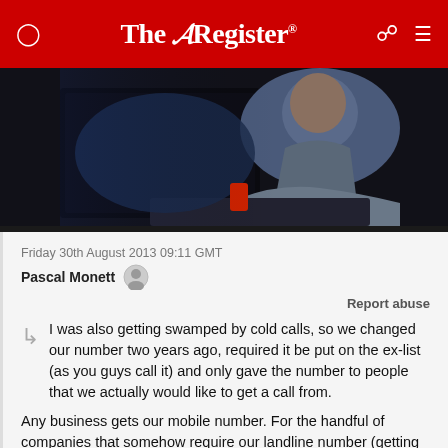The Register
[Figure (photo): Person sitting at a computer in dark lighting, wearing a denim jacket, hands on keyboard, screen glow visible]
Friday 30th August 2013 09:11 GMT
Pascal Monett
Report abuse
I was also getting swamped by cold calls, so we changed our number two years ago, required it be put on the ex-list (as you guys call it) and only gave the number to people that we actually would like to get a call from.
Any business gets our mobile number. For the handful of companies that somehow require our landline number (getting very rare these days), I give it to them with a very stern lecture on what will happen to them if that number gets into anyone